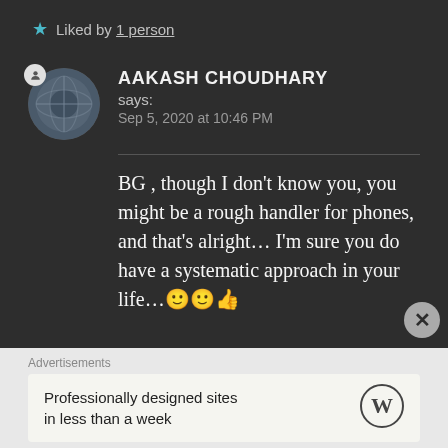★ Liked by 1 person
AAKASH CHOUDHARY says:
Sep 5, 2020 at 10:46 PM
BG , though I don't know you, you might be a rough handler for phones, and that's alright… I'm sure you do have a systematic approach in your life…🙂🙂👍
Advertisements
Professionally designed sites in less than a week